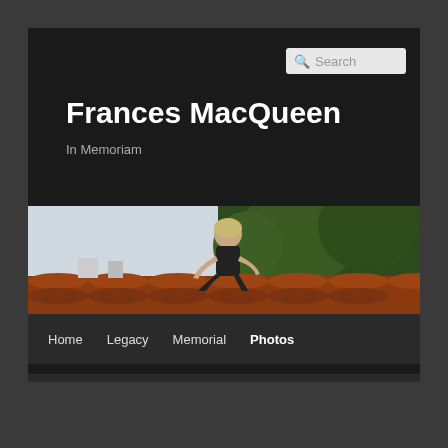Frances MacQueen
In Memoriam
[Figure (photo): Woman in black outfit crouching on a terracotta tiled roof, with trees and sky in the background]
Home
Legacy
Memorial
Photos
The Georgia Straight